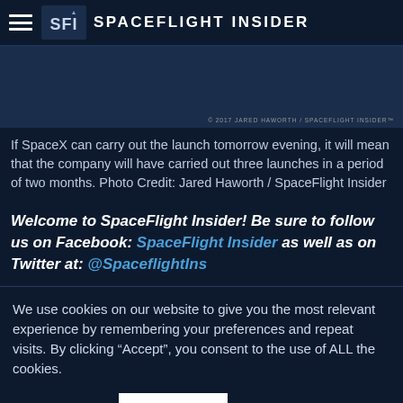Spaceflight Insider
[Figure (photo): Dark blue photograph with copyright notice: © 2017 JARED HAWORTH / SPACEFLIGHT INSIDER™]
If SpaceX can carry out the launch tomorrow evening, it will mean that the company will have carried out three launches in a period of two months. Photo Credit: Jared Haworth / SpaceFlight Insider
Welcome to SpaceFlight Insider! Be sure to follow us on Facebook: SpaceFlight Insider as well as on Twitter at: @SpaceflightIns
We use cookies on our website to give you the most relevant experience by remembering your preferences and repeat visits. By clicking "Accept", you consent to the use of ALL the cookies.